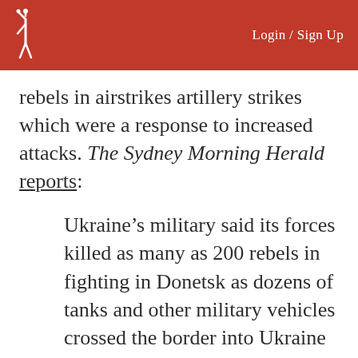Login / Sign Up
rebels in airstrikes artillery strikes which were a response to increased attacks. The Sydney Morning Herald reports:
Ukraine’s military said its forces killed as many as 200 rebels in fighting in Donetsk as dozens of tanks and other military vehicles crossed the border into Ukraine from Russia.